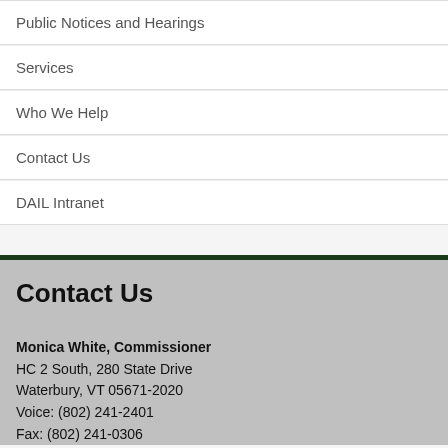Public Notices and Hearings
Services
Who We Help
Contact Us
DAIL Intranet
Contact Us
Monica White, Commissioner
HC 2 South, 280 State Drive
Waterbury, VT 05671-2020
Voice: (802) 241-2401
Fax: (802) 241-0306